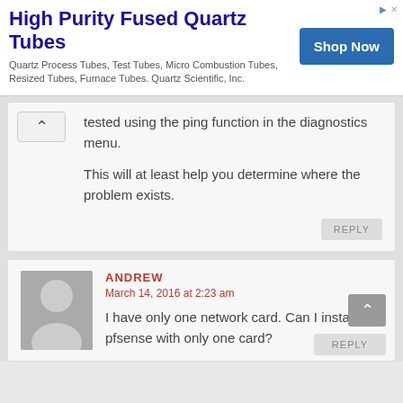[Figure (other): Advertisement banner for High Purity Fused Quartz Tubes with Shop Now button]
tested using the ping function in the diagnostics menu.

This will at least help you determine where the problem exists.
ANDREW
March 14, 2016 at 2:23 am
I have only one network card. Can I install pfsense with only one card?